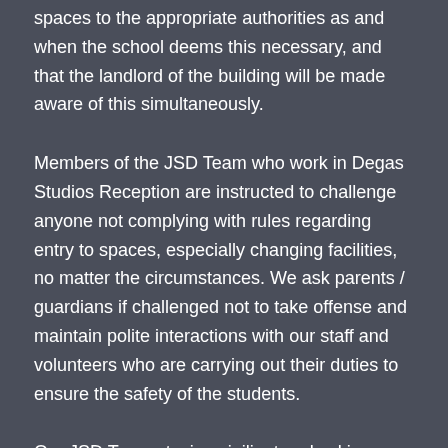spaces to the appropriate authorities as and when the school deems this necessary, and that the landlord of the building will be made aware of this simultaneously.
Members of the JSD Team who work in Degas Studios Reception are instructed to challenge anyone not complying with rules regarding entry to spaces, especially changing facilities, no matter the circumstances. We ask parents / guardians if challenged not to take offense and maintain polite interactions with our staff and volunteers who are carrying out their duties to ensure the safety of the students.
Our JSD Team staying vigiliant and asking questions where they feel necessary is for the benefit of the whole